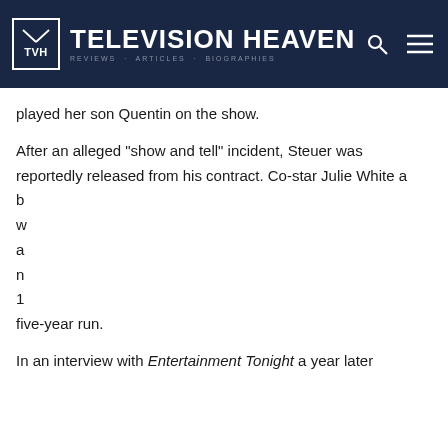TELEVISION HEAVEN
played her son Quentin on the show.
After an alleged "show and tell" incident, Steuer was reportedly released from his contract. Co-star Julie White a... b... w... a... r... n... 1... five-year run.
[Figure (screenshot): Cookie consent dialog overlay with title 'About cookies on this site', description text, Learn more link, 'Allow all cookies' yellow button, and 'Cookie settings' white button.]
In an interview with Entertainment Tonight a year later